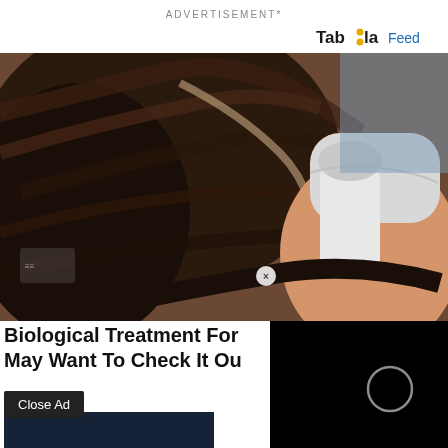ADVERTISEMENT*
[Figure (logo): Taboola Feed logo with orange dots]
[Figure (photo): Close-up photo of a woman having a hair treatment applied by a gloved hand holding a white bottle/applicator]
Biological Treatment For... May Want To Check It Ou...
Close Ad
[Figure (screenshot): Black video player panel with loading spinner circle]